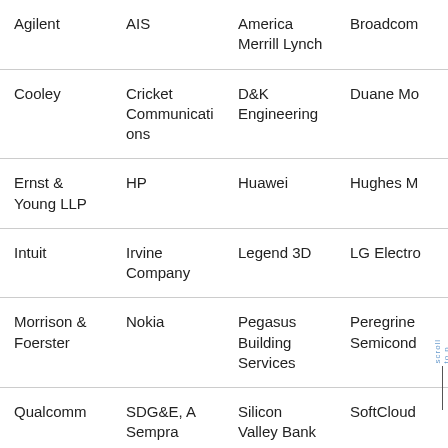| Col1 | Col2 | Col3 | Col4 |
| --- | --- | --- | --- |
| Agilent | AIS | America Merrill Lynch | Broadcom |
| Cooley | Cricket Communications | D&K Engineering | Duane Mo[rris] |
| Ernst & Young LLP | HP | Huawei | Hughes M[arin] |
| Intuit | Irvine Company | Legend 3D | LG Electro[nics] |
| Morrison & Foerster | Nokia | Pegasus Building Services | Peregrine Semicond[uctor] |
| Qualcomm | SDG&E, A Sempra Energy Utility | Silicon Valley Bank | SoftCloud[s] |